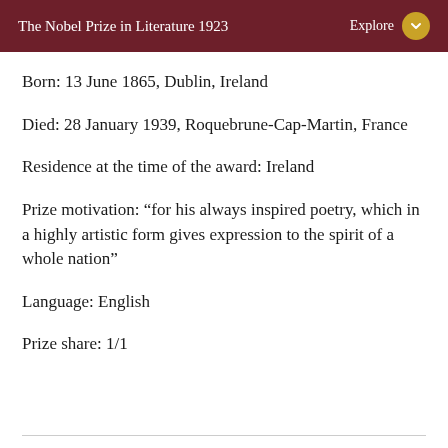The Nobel Prize in Literature 1923
Born: 13 June 1865, Dublin, Ireland
Died: 28 January 1939, Roquebrune-Cap-Martin, France
Residence at the time of the award: Ireland
Prize motivation: “for his always inspired poetry, which in a highly artistic form gives expression to the spirit of a whole nation”
Language: English
Prize share: 1/1